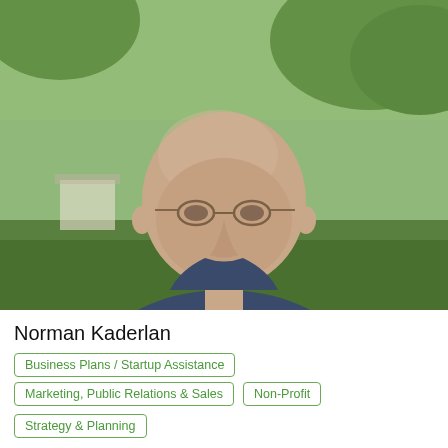[Figure (photo): Headshot photo of Norman Kaderlan, a bald man wearing glasses and a dark blue shirt, photographed outdoors with green trees in the background]
Norman Kaderlan
Business Plans / Startup Assistance
Marketing, Public Relations & Sales
Non-Profit
Strategy & Planning